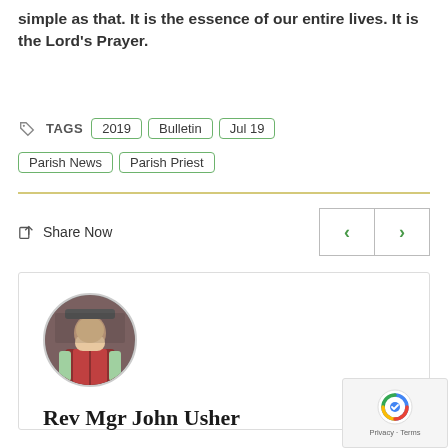simple as that. It is the essence of our entire lives. It is the Lord's Prayer.
TAGS: 2019, Bulletin, Jul 19, Parish News, Parish Priest
Share Now
[Figure (photo): Author profile card showing a circular photo of Rev Mgr John Usher in religious vestments, with his name below.]
Rev Mgr John Usher